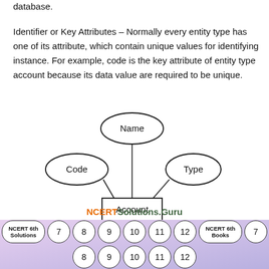database.
Identifier or Key Attributes – Normally every entity type has one of its attribute, which contain unique values for identifying instance. For example, code is the key attribute of entity type account because its data value are required to be unique.
[Figure (engineering-diagram): ER diagram showing entity 'Account' (rectangle) connected to attributes 'Name' (top ellipse), 'Code' (left ellipse), and 'Type' (right ellipse) via lines.]
NCERTSolutions.Guru
NCERT 6th Solutions  7  8  9  10  11  12  NCERT 6th Books  7  8  9  10  11  12